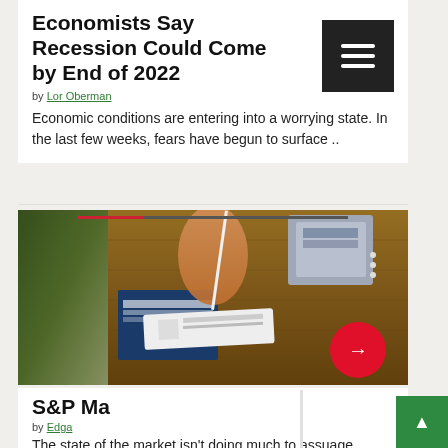Economists Say Recession Could Come by End of 2022
by Lor Oberman
Economic conditions are entering into a worrying state. In the last few weeks, fears have begun to surface ..
[Figure (photo): Photo of hands using a COVID-19 rapid test kit on a wooden table, with test packets and a blue book visible]
S&P Ma...
by Edga...
The state of the market isn't doing much to assuage recession fears. At the opening of